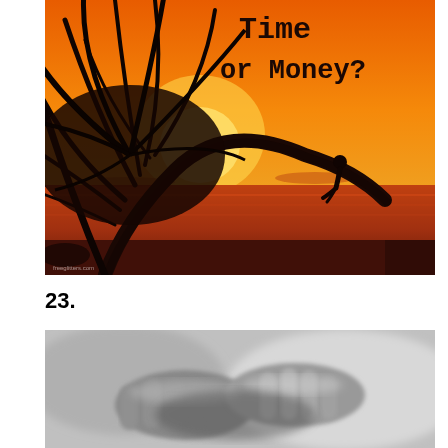[Figure (photo): Sunset beach scene with a palm tree silhouette leaning over the ocean, a person sitting on the trunk, orange and red sky. Text overlay reads 'Time or Money?' in bold typewriter font.]
23.
[Figure (photo): Black and white close-up photograph of hands, possibly clasped together or shaking hands, blurred background.]